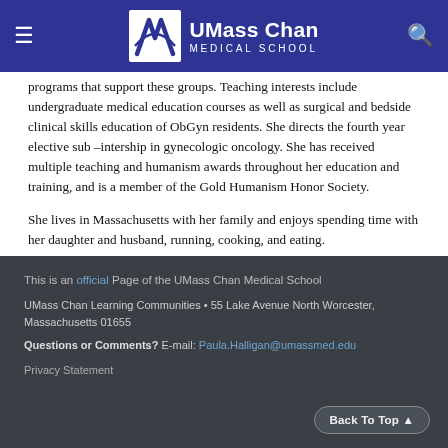UMass Chan Medical School
programs that support these groups. Teaching interests include undergraduate medical education courses as well as surgical and bedside clinical skills education of ObGyn residents. She directs the fourth year elective sub –intership in gynecologic oncology. She has received multiple teaching and humanism awards throughout her education and training, and is a member of the Gold Humanism Honor Society.
She lives in Massachusetts with her family and enjoys spending time with her daughter and husband, running, cooking, and eating.
This is an official Page of the UMass Chan Medical School
UMass Chan Learning Communities • 55 Lake Avenue North Worcester, Massachusetts 01655
Questions or Comments? E-mail: Paula.Halligan@umassmed.edu
Privacy Statement
Back To Top ▲